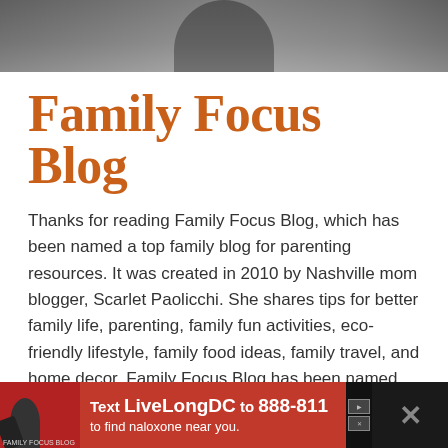[Figure (photo): Partial photo of a person (woman) from shoulders up, appearing at top of page, dark background]
Family Focus Blog
Thanks for reading Family Focus Blog, which has been named a top family blog for parenting resources. It was created in 2010 by Nashville mom blogger, Scarlet Paolicchi. She shares tips for better family life, parenting, family fun activities, eco-friendly lifestyle, family food ideas, family travel, and home decor. Family Focus Blog has been named #3 in Cision PR’s 50 U.S. Top Mom Blog list. Scarlet Paolicchi is the author of four books.
[Figure (screenshot): Advertisement banner: Text LiveLongDC to 888-811 to find naloxone near you.]